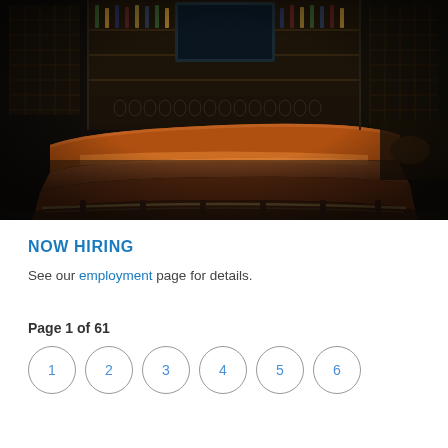[Figure (photo): Interior photo of an upscale bar/restaurant with a curved copper-topped bar counter, backlit shelving with liquor bottles, and dark wood decor]
NOW HIRING
See our employment page for details.
Page 1 of 61
1 2 3 4 5 6